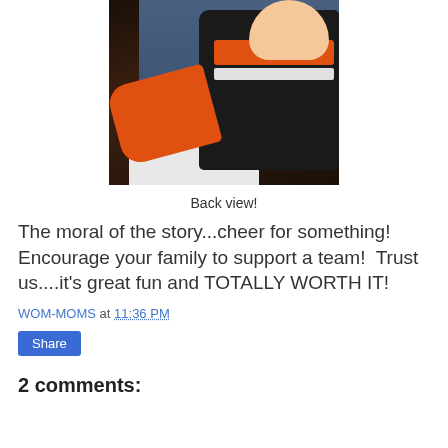[Figure (photo): Back view of a young child wearing an orange and black sports jacket with jeans, lying on or leaning against an adult.]
Back view!
The moral of the story...cheer for something! Encourage your family to support a team!  Trust us....it's great fun and TOTALLY WORTH IT!
WOM-MOMS at 11:36 PM
Share
2 comments: